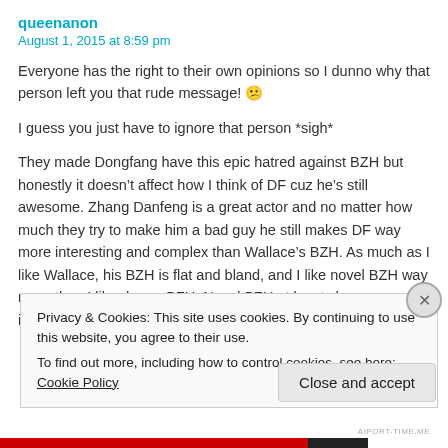queenanon
August 1, 2015 at 8:59 pm
Everyone has the right to their own opinions so I dunno why that person left you that rude message! 😮
I guess you just have to ignore that person *sigh*
They made Dongfang have this epic hatred against BZH but honestly it doesn't affect how I think of DF cuz he's still awesome. Zhang Danfeng is a great actor and no matter how much they try to make him a bad guy he still makes DF way more interesting and complex than Wallace's BZH. As much as I like Wallace, his BZH is flat and bland, and I like novel BZH way more than I like drama BZH. Novel BZH at least shows some internal struggle/angsting, whereas drama BZH is just
Privacy & Cookies: This site uses cookies. By continuing to use this website, you agree to their use.
To find out more, including how to control cookies, see here: Cookie Policy
Close and accept